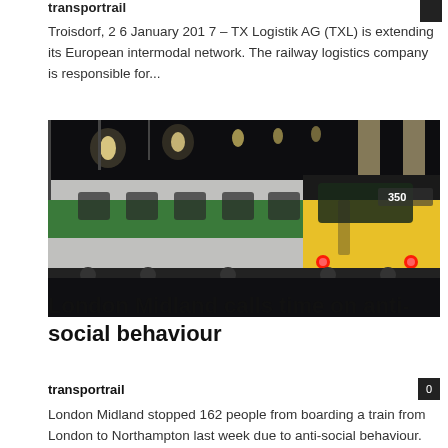transportrail
Troisdorf, 2 6 January 201 7 – TX Logistik AG (TXL) is extending its European intermodal network. The railway logistics company is responsible for...
[Figure (photo): A green and yellow London Midland train (numbered 350) at a station platform at night, with overhead lighting visible in the station canopy.]
News
London Midland calls time on anti-social behaviour
transportrail
London Midland stopped 162 people from boarding a train from London to Northampton last week due to anti-social behaviour. The